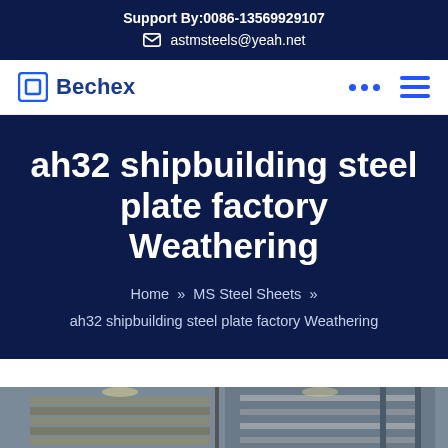Support By:0086-13569929107
astmsteels@yeah.net
Bechex
ah32 shipbuilding steel plate factory Weathering
Home » MS Steel Sheets » ah32 shipbuilding steel plate factory Weathering
[Figure (photo): Factory interior showing steel plates and industrial equipment]